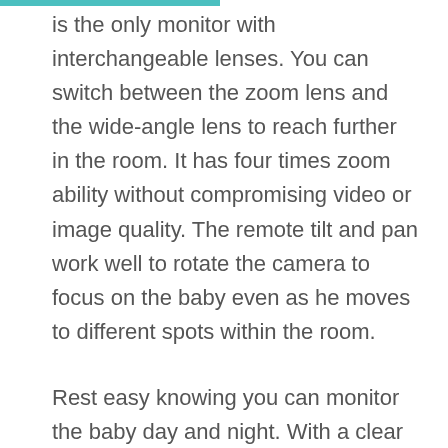is the only monitor with interchangeable lenses. You can switch between the zoom lens and the wide-angle lens to reach further in the room. It has four times zoom ability without compromising video or image quality. The remote tilt and pan work well to rotate the camera to focus on the baby even as he moves to different spots within the room.
Rest easy knowing you can monitor the baby day and night. With a clear night vision, you can view what the baby is up to even in a dark room.